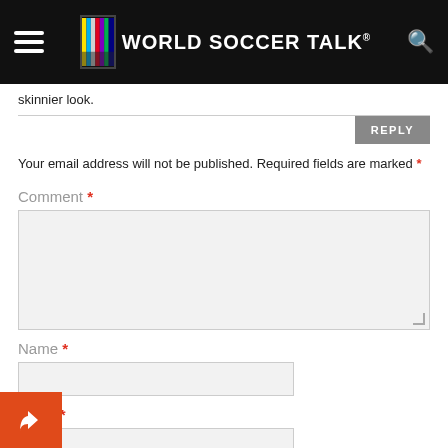World Soccer Talk
skinnier look.
Your email address will not be published. Required fields are marked *
Comment *
Name *
Email *
osite